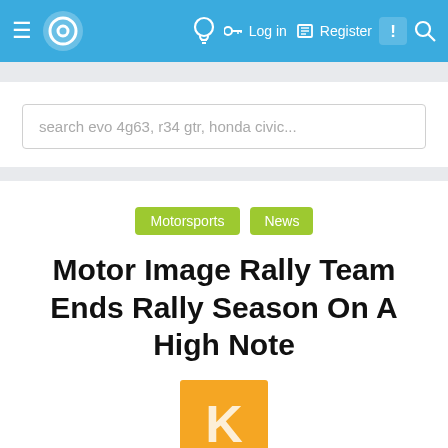≡ [logo] [bulb] [key] Log in [register] Register [chat] [search]
search evo 4g63, r34 gtr, honda civic...
Motorsports
News
Motor Image Rally Team Ends Rally Season On A High Note
[Figure (illustration): Orange/yellow square avatar with the letter K in white]